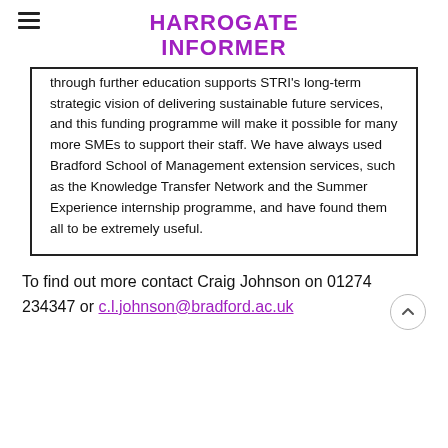HARROGATE INFORMER
through further education supports STRI's long-term strategic vision of delivering sustainable future services, and this funding programme will make it possible for many more SMEs to support their staff. We have always used Bradford School of Management extension services, such as the Knowledge Transfer Network and the Summer Experience internship programme, and have found them all to be extremely useful.
To find out more contact Craig Johnson on 01274 234347 or c.l.johnson@bradford.ac.uk